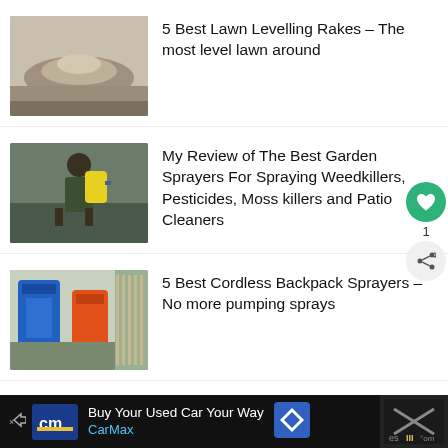[Figure (photo): A lawn area with a mound of sandy levelling material on grass]
5 Best Lawn Levelling Rakes – The most level lawn around
[Figure (photo): A man wearing a backpack garden sprayer with yellow tank and blue straps, standing outdoors]
My Review of The Best Garden Sprayers For Spraying Weedkillers, Pesticides, Moss killers and Patio Cleaners
[Figure (photo): A garden scene with blue and orange cordless backpack sprayers near a fence with plants]
5 Best Cordless Backpack Sprayers – No more pumping sprays
Buy Your Car Your Way  CarMax